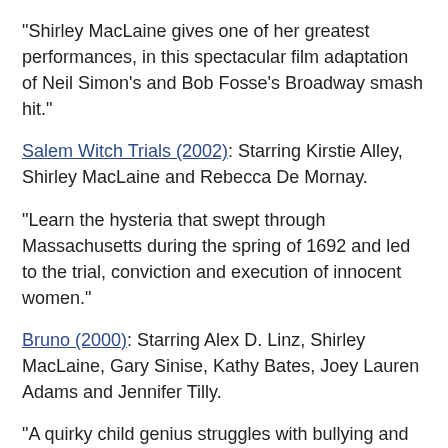"Shirley MacLaine gives one of her greatest performances, in this spectacular film adaptation of Neil Simon's and Bob Fosse's Broadway smash hit."
Salem Witch Trials (2002): Starring Kirstie Alley, Shirley MacLaine and Rebecca De Mornay.
"Learn the hysteria that swept through Massachusetts during the spring of 1692 and led to the trial, conviction and execution of innocent women."
Bruno (2000): Starring Alex D. Linz, Shirley MacLaine, Gary Sinise, Kathy Bates, Joey Lauren Adams and Jennifer Tilly.
"A quirky child genius struggles with bullying and family troubles, until his grandmother teaches him how to stand up and fight for his individuality."